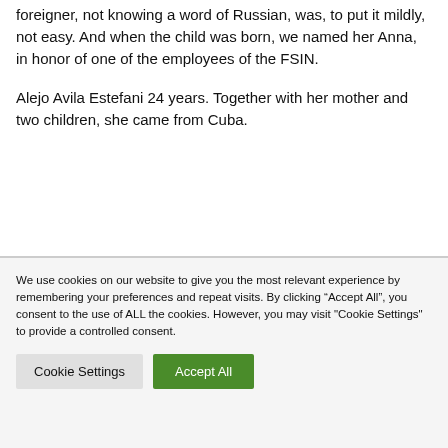foreigner, not knowing a word of Russian, was, to put it mildly, not easy. And when the child was born, we named her Anna, in honor of one of the employees of the FSIN.
Alejo Avila Estefani 24 years. Together with her mother and two children, she came from Cuba.
We use cookies on our website to give you the most relevant experience by remembering your preferences and repeat visits. By clicking “Accept All”, you consent to the use of ALL the cookies. However, you may visit "Cookie Settings" to provide a controlled consent.